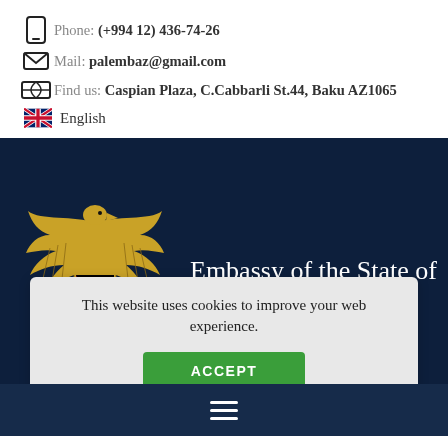Phone: (+994 12) 436-74-26
Mail: palembaz@gmail.com
Find us: Caspian Plaza, C.Cabbarli St.44, Baku AZ1065
English
[Figure (screenshot): Embassy of the State of Palestine - Azerbaijan website screenshot showing the Palestinian coat of arms (golden eagle with Palestinian flag) and text 'Embassy of the State of Palestine - Azerbaijan' on a dark navy blue background, with a cookie consent dialog overlay reading 'This website uses cookies to improve your web experience.' and an ACCEPT button.]